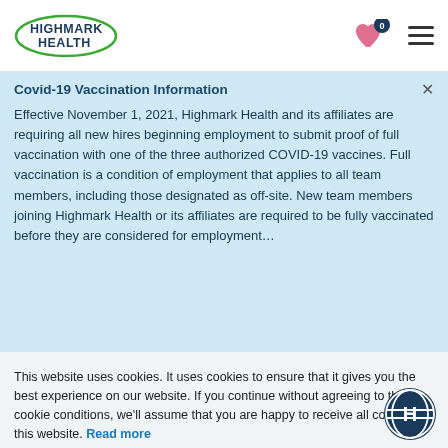Highmark Health
Covid-19 Vaccination Information
Effective November 1, 2021, Highmark Health and its affiliates are requiring all new hires beginning employment to submit proof of full vaccination with one of the three authorized COVID-19 vaccines. Full vaccination is a condition of employment that applies to all team members, including those designated as off-site. New team members joining Highmark Health or its affiliates are required to be fully vaccinated before they are considered for employment…
This website uses cookies. It uses cookies to ensure that it gives you the best experience on our website. If you continue without agreeing to the cookie conditions, we'll assume that you are happy to receive all cookies on this website. Read more
CONTINUE